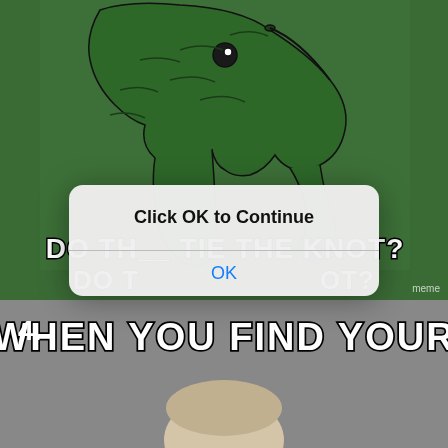[Figure (photo): Top meme panel: green background with Philosoraptor dinosaur (velociraptor) image and text 'DO THEY TIE THE KNOT?' in white Impact font with black outline. A watermark is visible in the bottom right corner.]
[Figure (screenshot): iOS-style dialog box overlaid on the meme. Title reads 'Click OK to Continue' in bold black text. Below a horizontal divider is a blue 'OK' button in iOS style.]
4.
[Figure (photo): Bottom meme panel: gray background with text 'WHEN YOU FIND YOUR' in white Impact font with black outline, and partial view of a person's head (bald/light hair) at the bottom.]